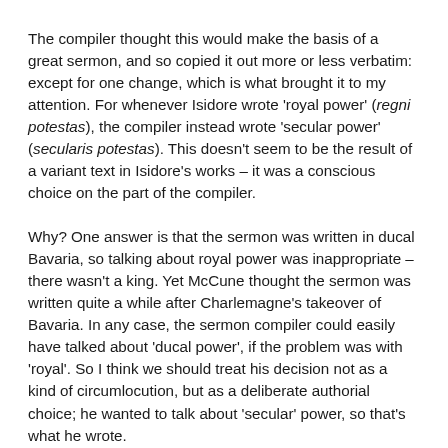The compiler thought this would make the basis of a great sermon, and so copied it out more or less verbatim: except for one change, which is what brought it to my attention. For whenever Isidore wrote 'royal power' (regni potestas), the compiler instead wrote 'secular power' (secularis potestas). This doesn't seem to be the result of a variant text in Isidore's works – it was a conscious choice on the part of the compiler.
Why? One answer is that the sermon was written in ducal Bavaria, so talking about royal power was inappropriate – there wasn't a king. Yet McCune thought the sermon was written quite a while after Charlemagne's takeover of Bavaria. In any case, the sermon compiler could easily have talked about 'ducal power', if the problem was with 'royal'. So I think we should treat his decision not as a kind of circumlocution, but as a deliberate authorial choice; he wanted to talk about 'secular' power, so that's what he wrote.